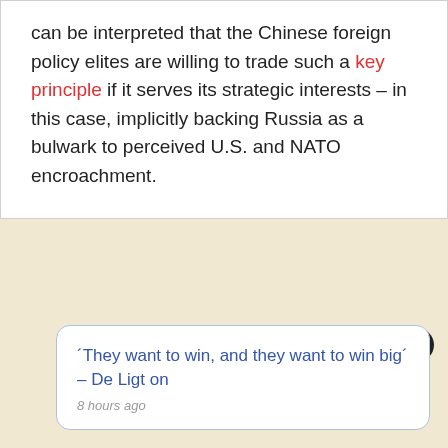can be interpreted that the Chinese foreign policy elites are willing to trade such a key principle if it serves its strategic interests – in this case, implicitly backing Russia as a bulwark to perceived U.S. and NATO encroachment.
´They want to win, and they want to win big´ – De Ligt on
8 hours ago